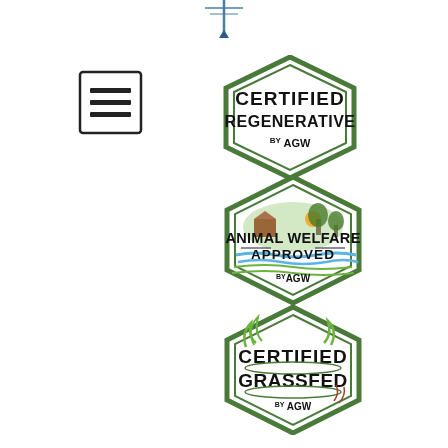[Figure (logo): Partial logo at top center - decorative element with blue/teal lines]
[Figure (logo): Hamburger menu icon - square with three horizontal lines]
[Figure (logo): Certified Regenerative by AGW hexagonal badge in dark green]
[Figure (logo): Animal Welfare Approved by AGW hexagonal badge with farm scene illustration in green]
[Figure (logo): Certified Grassfed by AGW hexagonal badge in dark green with grass blade illustration]